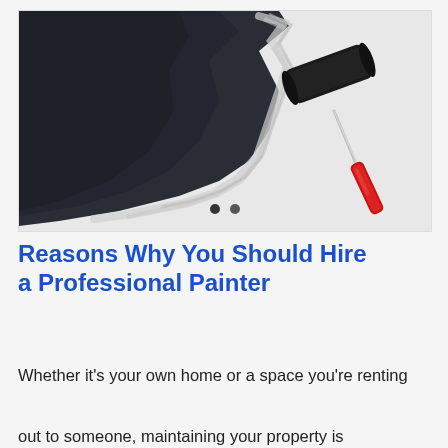[Figure (photo): A paint roller with a red handle rolling dark navy/charcoal paint onto a white surface, photographed from above against a light background.]
Reasons Why You Should Hire a Professional Painter
Whether it's your own home or a space you're renting out to someone, maintaining your property is important. You want your home to be as beautiful and